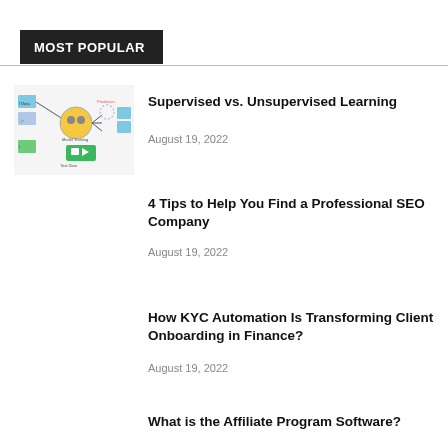MOST POPULAR
[Figure (screenshot): Supervised vs unsupervised learning diagram with model training blocks and prediction nodes]
Supervised vs. Unsupervised Learning
August 19, 2022
4 Tips to Help You Find a Professional SEO Company
August 19, 2022
How KYC Automation Is Transforming Client Onboarding in Finance?
August 19, 2022
What is the Affiliate Program Software?